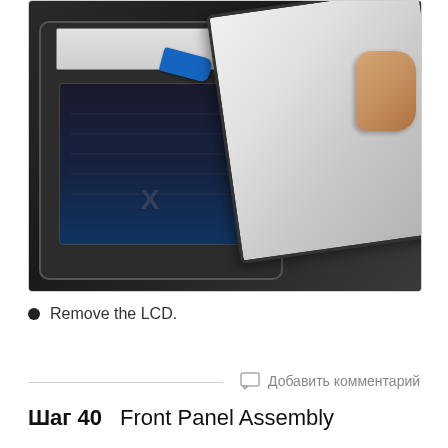[Figure (photo): Photo showing an iPad being disassembled with the LCD panel being lifted away from the chassis. A blue pry tool is visible inside the device. A hand is holding the LCD panel at an angle as it is removed.]
Remove the LCD.
Добавить комментарий
Шаг 40    Front Panel Assembly